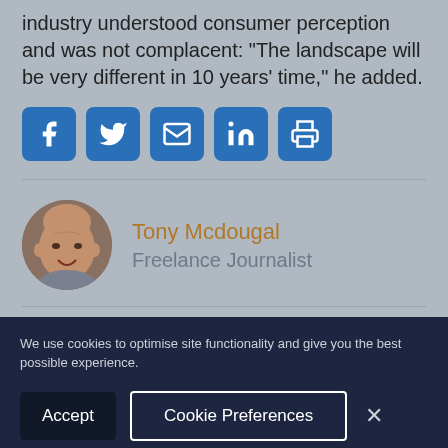industry understood consumer perception and was not complacent: “The landscape will be very different in 10 years’ time,” he added.
[Figure (infographic): Row of five social media/share icons: Facebook, Twitter, Email, LinkedIn, Print]
[Figure (photo): Circular headshot photo of Tony Mcdougal, a middle-aged bald man smiling]
Tony Mcdougal
Freelance Journalist
We use cookies to optimise site functionality and give you the best possible experience.
Accept
Cookie Preferences